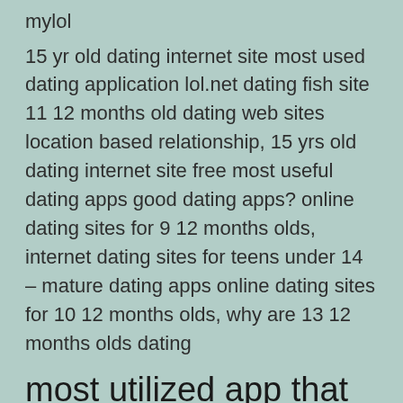mylol
15 yr old dating internet site most used dating application lol.net dating fish site 11 12 months old dating web sites location based relationship, 15 yrs old dating internet site free most useful dating apps good dating apps? online dating sites for 9 12 months olds, internet dating sites for teens under 14 – mature dating apps online dating sites for 10 12 months olds, why are 13 12 months olds dating
most utilized app that is